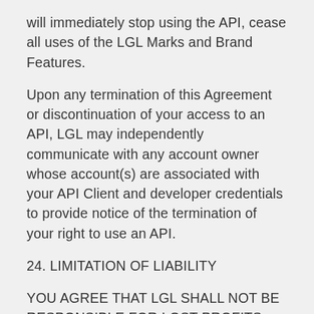will immediately stop using the API, cease all uses of the LGL Marks and Brand Features.
Upon any termination of this Agreement or discontinuation of your access to an API, LGL may independently communicate with any account owner whose account(s) are associated with your API Client and developer credentials to provide notice of the termination of your right to use an API.
24. LIMITATION OF LIABILITY
YOU AGREE THAT LGL SHALL NOT BE RESPONSIBLE FOR LOST PROFITS, REVENUES, OR DATA; FINANCIAL LOSSES; OR INDIRECT, SPECIAL, CONSEQUENTIAL, EXEMPLARY OR